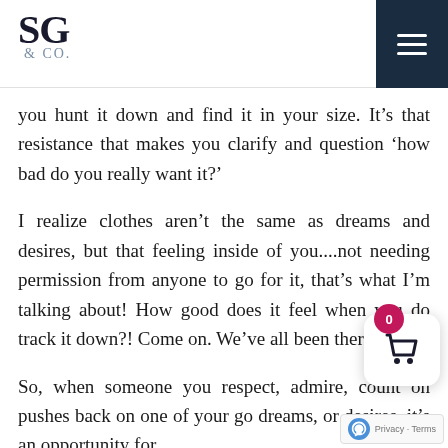SG & CO.
you hunt it down and find it in your size. It’s that resistance that makes you clarify and question ‘how bad do you really want it?’
I realize clothes aren’t the same as dreams and desires, but that feeling inside of you....not needing permission from anyone to go for it, that’s what I’m talking about! How good does it feel when you do track it down?! Come on. We’ve all been there.
So, when someone you respect, admire, count on pushes back on one of your go dreams, or desires, it’s an opportunity for